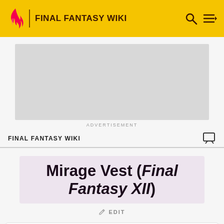FINAL FANTASY WIKI
[Figure (screenshot): Advertisement placeholder (grey rectangle)]
ADVERTISEMENT
FINAL FANTASY WIKI
Mirage Vest (Final Fantasy XII)
✎ EDIT
(ミラージュベスト, Mirāju Besuto?)